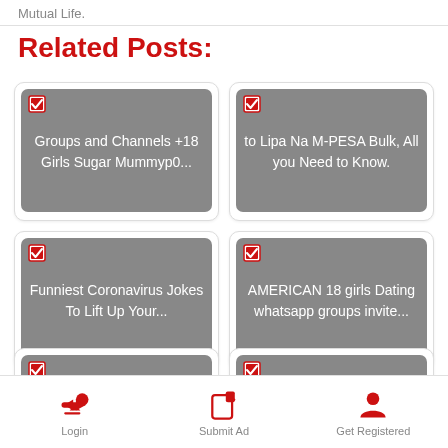Mutual Life.
Related Posts:
Groups and Channels +18 Girls Sugar Mummyp0...
to Lipa Na M-PESA Bulk, All you Need to Know.
Funniest Coronavirus Jokes To Lift Up Your...
AMERICAN 18 girls Dating whatsapp groups invite...
100+ BEST USA Best Telegram
50 Most useful Telegram
Login   Submit Ad   Get Registered